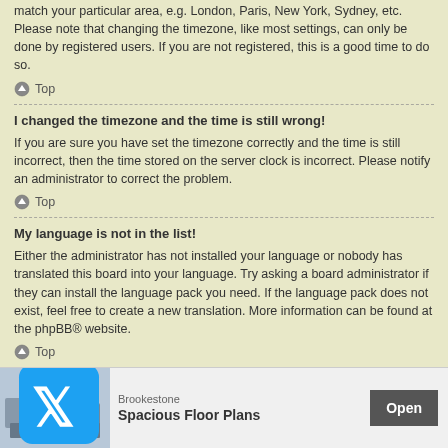match your particular area, e.g. London, Paris, New York, Sydney, etc. Please note that changing the timezone, like most settings, can only be done by registered users. If you are not registered, this is a good time to do so.
↑ Top
I changed the timezone and the time is still wrong!
If you are sure you have set the timezone correctly and the time is still incorrect, then the time stored on the server clock is incorrect. Please notify an administrator to correct the problem.
↑ Top
My language is not in the list!
Either the administrator has not installed your language or nobody has translated this board into your language. Try asking a board administrator if they can install the language pack you need. If the language pack does not exist, feel free to create a new translation. More information can be found at the phpBB® website.
↑ Top
What are the images next to my username?
There are … viewing posts. One … ally in the form of sta… e or your